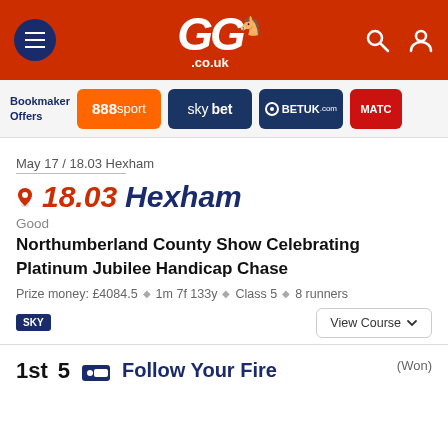[Figure (screenshot): GG.co.uk website header with orange/red background, hamburger menu on left, GG.co.uk logo in center, search and user icons on right]
[Figure (screenshot): Bookmaker offers strip showing 888sport, skybet, BETUK, MATCH logos]
May 17 / 18.03 Hexham
18.03 Hexham
Good
Northumberland County Show Celebrating Platinum Jubilee Handicap Chase
Prize money: £4084.5 ◆ 1m 7f 133y ◆ Class 5 ◆ 8 runners
SKY
View Course
1st  5  Follow Your Fire  (Won)